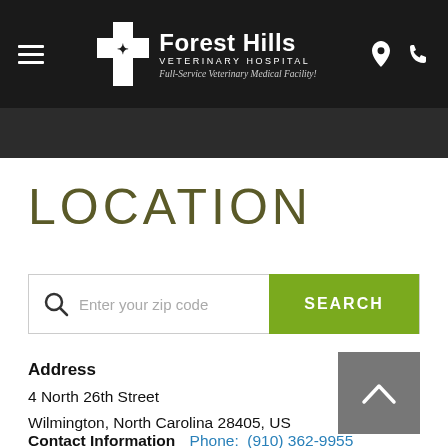Forest Hills Veterinary Hospital — Full-Service Veterinary Medical Facility!
LOCATION
Enter your zip code — SEARCH
Address
4 North 26th Street
Wilmington, North Carolina 28405, US
Contact Information  Phone:  (910) 362-9955